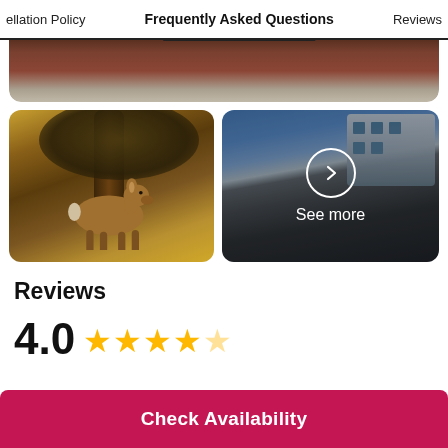ellation Policy   Frequently Asked Questions   Reviews
[Figure (photo): Top partial image showing a dark red brick wall and a gray stone driveway]
[Figure (photo): Photo of a deer standing under trees in a wooded area with dappled sunlight]
[Figure (photo): Photo of a road/driveway leading to buildings with blue sky and trees, overlaid with a 'See more' button with arrow icon]
Reviews
4.0 ★★★★☆
Check Availability